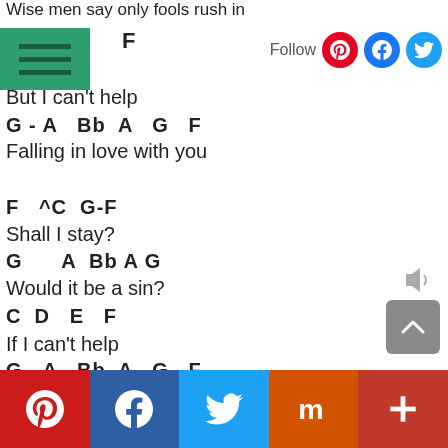Wise men say only fools rush in
C    F
But I can't help
G - A   Bb  A   G   F
Falling in love with you
F   ^C  G-F
Shall I stay?
G       A  Bb A G
Would it be a sin?
C  D    E   F
If I can't help
G - A   Bb  A   G   F
Falling in love with you.
Pinterest Facebook Twitter Mix +